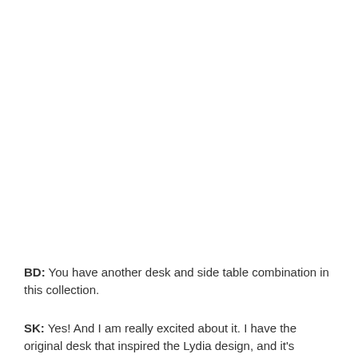BD: You have another desk and side table combination in this collection.
SK: Yes! And I am really excited about it. I have the original desk that inspired the Lydia design, and it's amazing how